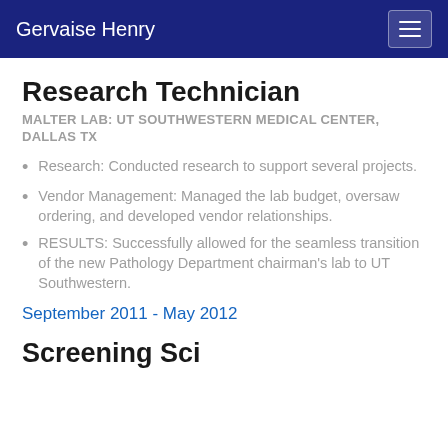Gervaise Henry
Research Technician
MALTER LAB: UT SOUTHWESTERN MEDICAL CENTER, DALLAS TX
Research: Conducted research to support several projects.
Vendor Management: Managed the lab budget, oversaw ordering, and developed vendor relationships.
RESULTS: Successfully allowed for the seamless transition of the new Pathology Department chairman's lab to UT Southwestern.
September 2011 - May 2012
Screening Scientist